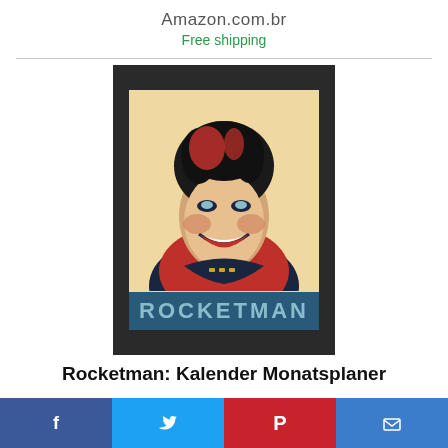Amazon.com.br
Free shipping
[Figure (illustration): Rocketman poster-style illustration of a figure with bold red and navy colors on a yellow background. At the bottom of the poster reads 'ROCKETMAN' in large teal letters on a dark blue banner. The poster is set against a dark charcoal background.]
Rocketman: Kalender Monatsplaner